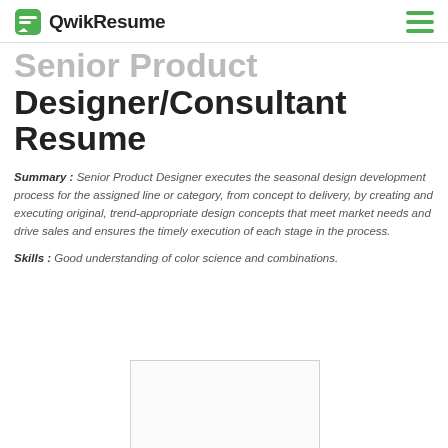QwikResume
Senior Product Designer/Consultant Resume
Summary : Senior Product Designer executes the seasonal design development process for the assigned line or category, from concept to delivery, by creating and executing original, trend-appropriate design concepts that meet market needs and drive sales and ensures the timely execution of each stage in the process.
Skills : Good understanding of color science and combinations.
[Figure (other): Placeholder rectangle box, likely for an image or advertisement]